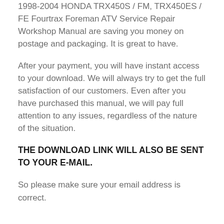1998-2004 HONDA TRX450S / FM, TRX450ES / FE Fourtrax Foreman ATV Service Repair Workshop Manual are saving you money on postage and packaging. It is great to have.
After your payment, you will have instant access to your download. We will always try to get the full satisfaction of our customers. Even after you have purchased this manual, we will pay full attention to any issues, regardless of the nature of the situation.
THE DOWNLOAD LINK WILL ALSO BE SENT TO YOUR E-MAIL.
So please make sure your email address is correct.